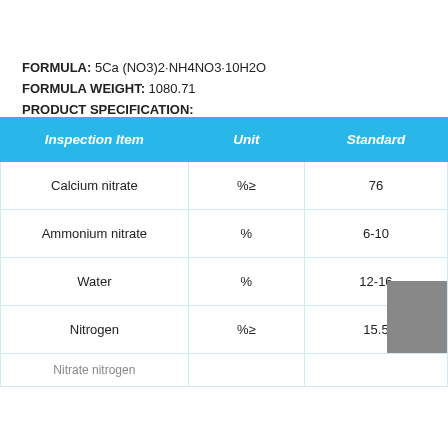FORMULA: 5Ca (NO3)2·NH4NO3·10H2O
FORMULA WEIGHT: 1080.71
PRODUCT SPECIFICATION:
| Inspection Item | Unit | Standard |
| --- | --- | --- |
| Calcium nitrate | %≥ | 76 |
| Ammonium nitrate | % | 6-10 |
| Water | % | 12-16 |
| Nitrogen | %≥ | 15.5 |
| Nitrate nitrogen | ... | ... |